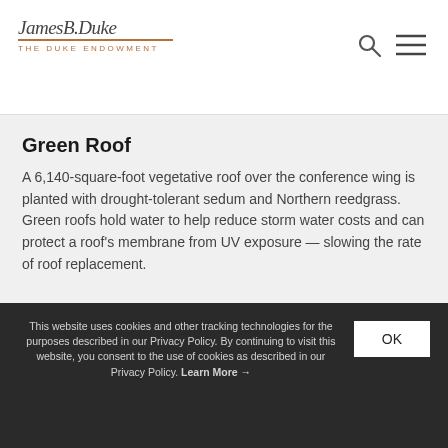James B. Duke — THE DUKE ENDOWMENT
Green Roof
A 6,140-square-foot vegetative roof over the conference wing is planted with drought-tolerant sedum and Northern reedgrass. Green roofs hold water to help reduce storm water costs and can protect a roof's membrane from UV exposure — slowing the rate of roof replacement.
This website uses cookies and other tracking technologies for the purposes described in our Privacy Policy. By continuing to visit this website, you consent to the use of cookies as described in our Privacy Policy. Learn More →